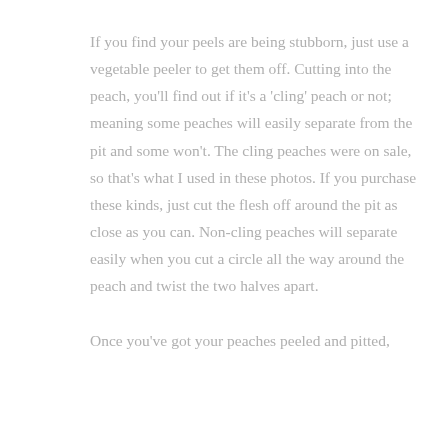If you find your peels are being stubborn, just use a vegetable peeler to get them off. Cutting into the peach, you'll find out if it's a 'cling' peach or not; meaning some peaches will easily separate from the pit and some won't. The cling peaches were on sale, so that's what I used in these photos. If you purchase these kinds, just cut the flesh off around the pit as close as you can. Non-cling peaches will separate easily when you cut a circle all the way around the peach and twist the two halves apart.
Once you've got your peaches peeled and pitted,